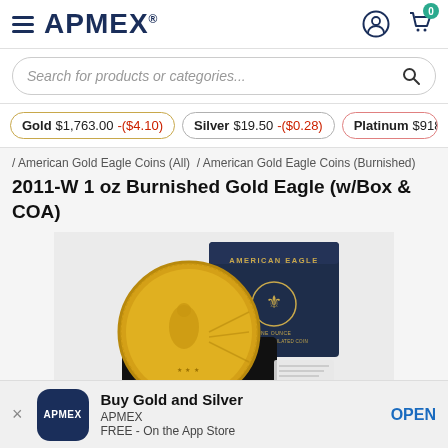APMEX
Search for products or categories...
Gold $1,763.00 -($4.10)  Silver $19.50 -($0.28)  Platinum $918.60 -($7.8...)
/ American Gold Eagle Coins (All) / American Gold Eagle Coins (Burnished)
2011-W 1 oz Burnished Gold Eagle (w/Box & COA)
[Figure (photo): Photo of a 2011-W 1 oz Burnished Gold Eagle coin displayed in front of a dark navy American Eagle presentation box, with a COA document partially visible.]
Buy Gold and Silver
APMEX
FREE - On the App Store
OPEN